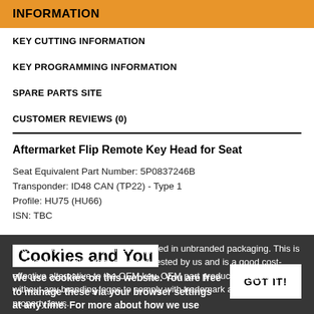INFORMATION
KEY CUTTING INFORMATION
KEY PROGRAMMING INFORMATION
SPARE PARTS SITE
CUSTOMER REVIEWS (0)
Aftermarket Flip Remote Key Head for Seat
Seat Equivalent Part Number: 5P0837246B
Transponder: ID48 CAN (TP22) - Type 1
Profile: HU75 (HU66)
ISN: TBC
Aftermarket remote key blade supplied in unbranded packaging. This is an excellent quality item, tried and tested by us and is a good cost-effective alternative to the OEM key. OEM part product is supplied without any branding logos to comply with trademark and intellectual property laws.
This key blade comes complete with transponder chip
Cookies and You
We use cookies on this website. You are free to manage these via your browser settings at any time. For more about how we use cookies, please see our Privacy Policy.
GOT IT!